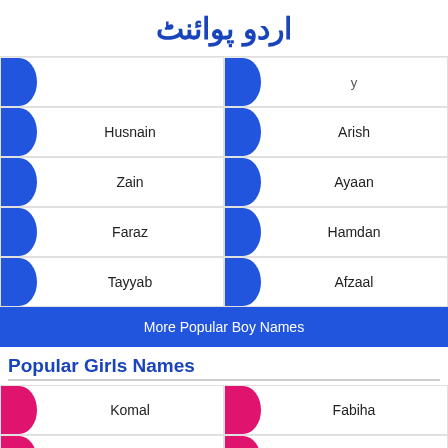اردو پوائنٹ
| Husnain | Arish |
| Zain | Ayaan |
| Faraz | Hamdan |
| Tayyab | Afzaal |
More Popular Boy Names
Popular Girls Names
| Komal | Fabiha |
| Hareem | Maira |
| Musfira | Afnan |